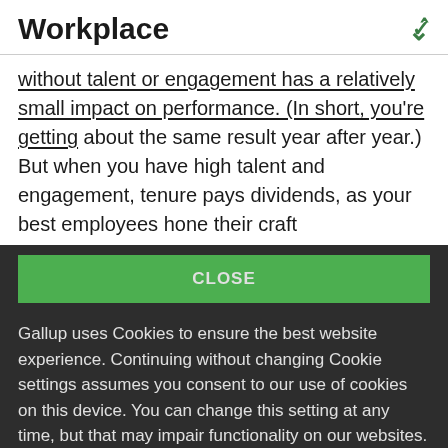Workplace
without talent or engagement has a relatively small impact on performance. (In short, you're getting about the same result year after year.) But when you have high talent and engagement, tenure pays dividends, as your best employees hone their craft
CLOSE
Gallup uses Cookies to ensure the best website experience. Continuing without changing Cookie settings assumes you consent to our use of cookies on this device. You can change this setting at any time, but that may impair functionality on our websites.
Privacy Statement   Site Terms of Use and Sale
Product Terms of Use   Adjust your cookie settings.